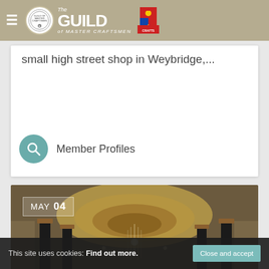The Guild of Master Craftsmen
small high street shop in Weybridge,...
Member Profiles
[Figure (photo): Interior photo of a luxurious lobby with ornate ceiling, chandelier, and columns. Date badge shows MAY 04.]
This site uses cookies: Find out more. Close and accept